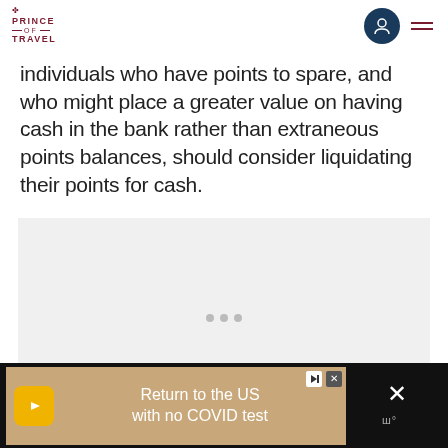Prince of Travel — navigation bar with logo and menu icon
individuals who have points to spare, and who might place a greater value on having cash in the bank rather than extraneous points balances, should consider liquidating their points for cash.
[Figure (photo): Gray placeholder image area with loading indicator dots]
Advertisement bar: Return to the US with no COVID test